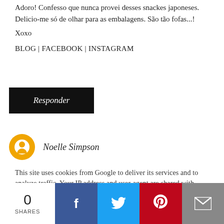Adoro! Confesso que nunca provei desses snackes japoneses. Delicio-me só de olhar para as embalagens. São tão fofas...!
Xoxo
BLOG | FACEBOOK | INSTAGRAM
Responder
Noelle Simpson
This site uses cookies from Google to deliver its services and to analyze traffic. Your IP address and user-agent are shared with Google along with performance and security metrics to ensure quality of service, generate usage statistics, and to detect and address abuse.
Responder
0
SHARES